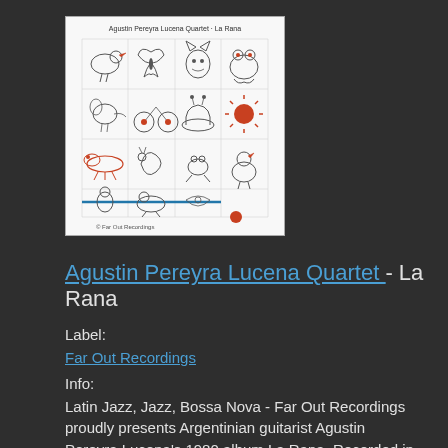[Figure (illustration): Album cover for La Rana by Agustin Pereyra Lucena Quartet, showing a grid of cartoon animal/creature illustrations in black, white, and orange/red colors]
Agustin Pereyra Lucena Quartet - La Rana
Label:
Far Out Recordings
Info:
Latin Jazz, Jazz, Bossa Nova - Far Out Recordings proudly presents Argentinian guitarist Agustin Pereyra Lucena's 1980 album La Rana. Recorded in Oslo...
Format:
Vinyl record
Catno:
FARO227LP
Style:
Latin Jazz